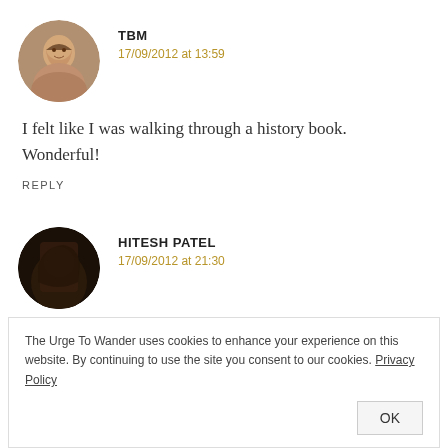[Figure (photo): Circular avatar photo of TBM, a woman smiling]
TBM
17/09/2012 at 13:59
I felt like I was walking through a history book. Wonderful!
REPLY
[Figure (photo): Circular avatar photo of Hitesh Patel, dark image of a person]
HITESH PATEL
17/09/2012 at 21:30
The Urge To Wander uses cookies to enhance your experience on this website. By continuing to use the site you consent to our cookies. Privacy Policy
OK